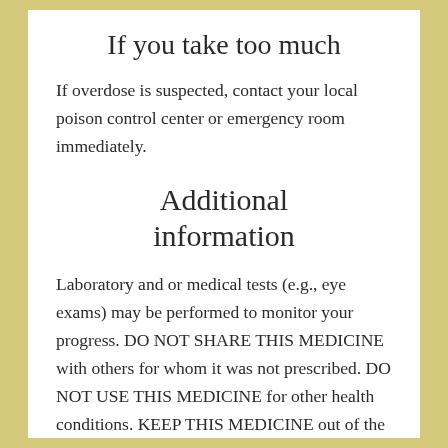If you take too much
If overdose is suspected, contact your local poison control center or emergency room immediately.
Additional information
Laboratory and or medical tests (e.g., eye exams) may be performed to monitor your progress. DO NOT SHARE THIS MEDICINE with others for whom it was not prescribed. DO NOT USE THIS MEDICINE for other health conditions. KEEP THIS MEDICINE out of the reach of